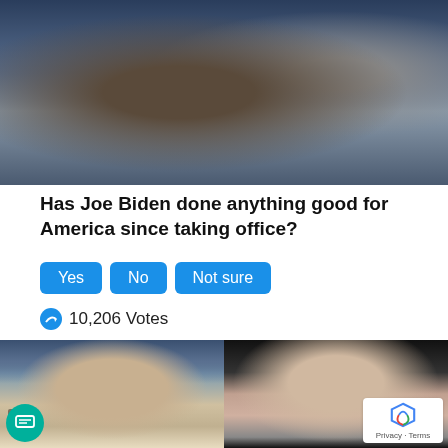[Figure (photo): Close-up photo of Joe Biden at a crowded event, smiling, with people in background]
Has Joe Biden done anything good for America since taking office?
Yes  No  Not sure
10,206 Votes
[Figure (photo): Side-by-side photos: left shows Ron DeSantis smiling in front of American flag; right shows Joe Biden speaking at a podium]
Privacy · Terms